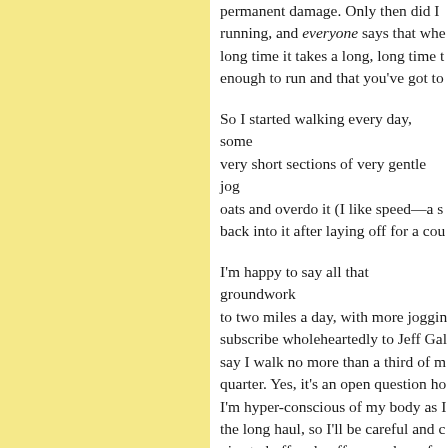permanent damage. Only then did I running, and everyone says that whe long time it takes a long, long time t enough to run and that you've got to
So I started walking every day, some very short sections of very gentle jog oats and overdo it (I like speed—a s back into it after laying off for a cou
I'm happy to say all that groundwork to two miles a day, with more joggin subscribe wholeheartedly to Jeff Gal say I walk no more than a third of m quarter. Yes, it's an open question ho I'm hyper-conscious of my body as I the long haul, so I'll be careful and c nice to huff and puff every day—fee
Print Offer: ...Coming right up. I'll date it starts, so you won't miss it. Th